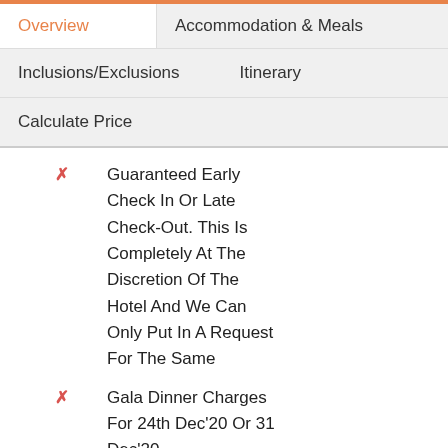Overview
Accommodation & Meals
Inclusions/Exclusions
Itinerary
Calculate Price
Guaranteed Early Check In Or Late Check-Out. This Is Completely At The Discretion Of The Hotel And We Can Only Put In A Request For The Same
Gala Dinner Charges For 24th Dec'20 Or 31 Dec'20
Laundry, Telephone, Optional Excursions